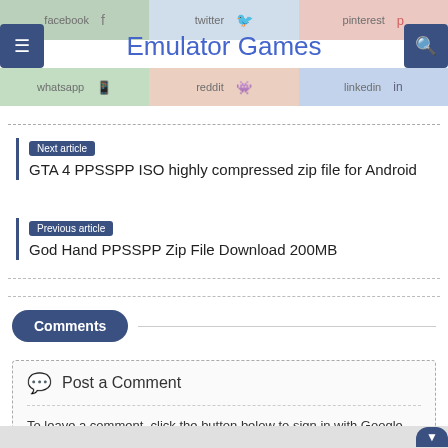Emulator Games
Next article
GTA 4 PPSSPP ISO highly compressed zip file for Android
Previous article
God Hand PPSSPP Zip File Download 200MB
Comments
Post a Comment
To leave a comment, click the button below to sign in with Google.
SIGN IN WITH GOOGLE